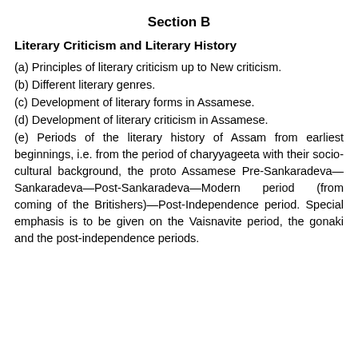Section B
Literary Criticism and Literary History
(a) Principles of literary criticism up to New criticism.
(b) Different literary genres.
(c) Development of literary forms in Assamese.
(d) Development of literary criticism in Assamese.
(e) Periods of the literary history of Assam from earliest beginnings, i.e. from the period of charyyageeta with their socio-cultural background, the proto Assamese Pre-Sankaradeva—Sankaradeva—Post-Sankaradeva—Modern period (from coming of the Britishers)—Post-Independence period. Special emphasis is to be given on the Vaisnavite period, the gonaki and the post-independence periods.